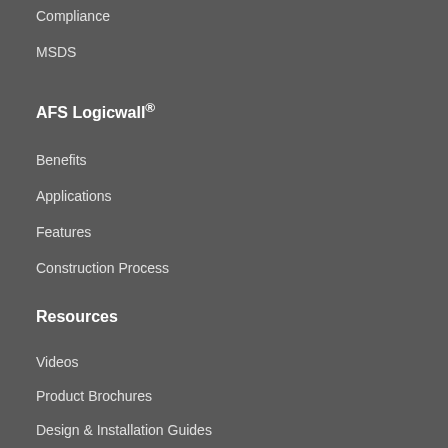Compliance
MSDS
AFS Logicwall®
Benefits
Applications
Features
Construction Process
Resources
Videos
Product Brochures
Design & Installation Guides
Compliance & Technical Guides
Compliance
MSDS